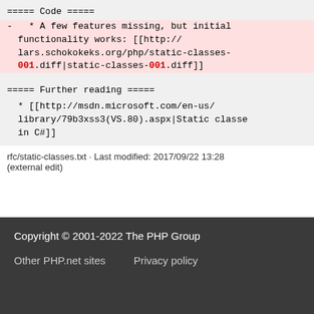===== Code =====
- * A few features missing, but initial functionality works: [[http://lars.schokokeks.org/php/static-classes-001.diff|static-classes-001.diff]]
===== Further reading =====
* [[http://msdn.microsoft.com/en-us/library/79b3xss3(VS.80).aspx|Static classes in C#]]
rfc/static-classes.txt · Last modified: 2017/09/22 13:28 (external edit)
Copyright © 2001-2022 The PHP Group
Other PHP.net sites    Privacy policy